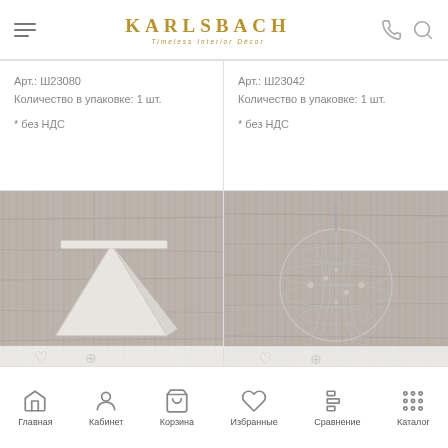KARLSBACH — Timeless Interior Decor
Арт.: Ш23080
Количество в упаковке: 1 шт.
* без НДС
Арт.: Ш23042
Количество в упаковке: 1 шт.
* без НДС
[Figure (photo): White square/pyramid-shaped decorative bowl on rustic wooden surface]
[Figure (photo): Spherical wire/crystal chandelier/lantern on rustic wooden surface]
Главная | Кабинет | Корзина | Избранные | Сравнение | Каталог